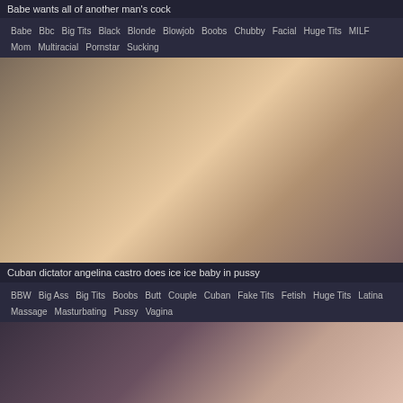Babe wants all of another man's cock
Babe  Bbc  Big Tits  Black  Blonde  Blowjob  Boobs  Chubby  Facial  Huge Tits  MILF  Mom  Multiracial  Pornstar  Sucking
[Figure (photo): Adult content image]
Cuban dictator angelina castro does ice ice baby in pussy
BBW  Big Ass  Big Tits  Boobs  Butt  Couple  Cuban  Fake Tits  Fetish  Huge Tits  Latina  Massage  Masturbating  Pussy  Vagina
[Figure (photo): Adult content image partial]